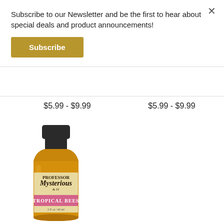Subscribe to our Newsletter and be the first to hear about special deals and product announcements!
Subscribe
×
$5.99 - $9.99
$5.99 - $9.99
[Figure (photo): A small amber glass bottle with a dark screw cap and a vintage-style label reading 'Mysterious' with 'Tropical Bees' in a pink band, sitting against a white background.]